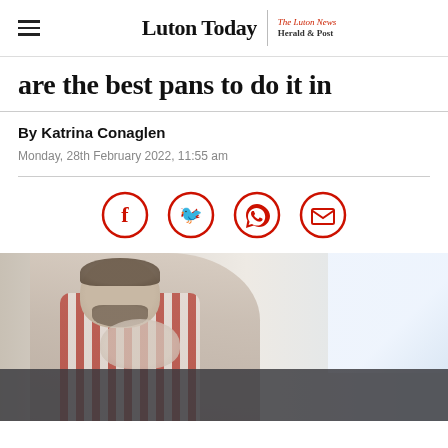Luton Today | The Luton News Herald & Post
are the best pans to do it in
By Katrina Conaglen
Monday, 28th February 2022, 11:55 am
[Figure (infographic): Social sharing icons: Facebook, Twitter, WhatsApp, Email — red circle outlines with white background]
[Figure (photo): A bearded man wearing a red and white striped apron cooking in a kitchen, leaning over, with a child partially visible at the bottom of the frame. Bright kitchen background with window.]